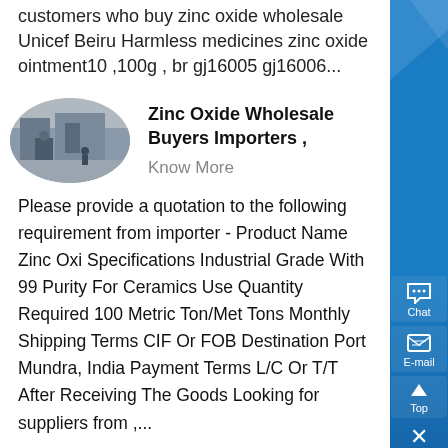customers who buy zinc oxide wholesale Unicef Beiru Harmless medicines zinc oxide ointment10 ,100g , br gj16005 gj16006...
[Figure (photo): Oval/elliptical photo of an industrial facility interior with workers]
Zinc Oxide Wholesale Buyers Importers ,
Know More
Please provide a quotation to the following requirement from importer - Product Name Zinc Oxi Specifications Industrial Grade With 99 Purity For Ceramics Use Quantity Required 100 Metric Ton/Met Tons Monthly Shipping Terms CIF Or FOB Destination Port Mundra, India Payment Terms L/C Or T/T After Receiving The Goods Looking for suppliers from ,...
[Figure (photo): Oval/elliptical photo of zinc oxide powder or industrial product]
Zinc Oxide Powder Import Data Vietnam Zinc Oxide ,